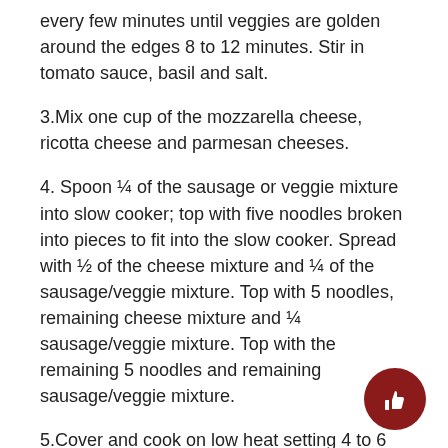every few minutes until veggies are golden around the edges 8 to 12 minutes. Stir in tomato sauce, basil and salt.
3.Mix one cup of the mozzarella cheese, ricotta cheese and parmesan cheeses.
4. Spoon ¼ of the sausage or veggie mixture into slow cooker; top with five noodles broken into pieces to fit into the slow cooker. Spread with ½ of the cheese mixture and ¼ of the sausage/veggie mixture. Top with 5 noodles, remaining cheese mixture and ¼ sausage/veggie mixture. Top with the remaining 5 noodles and remaining sausage/veggie mixture.
5.Cover and cook on low heat setting 4 to 6 hours until noodles are tender.